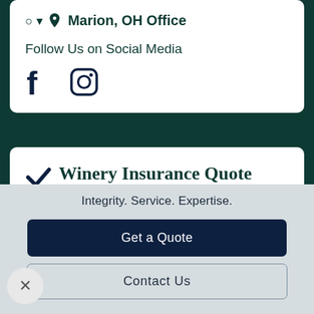Marion, OH Office
Follow Us on Social Media
[Figure (logo): Facebook and Instagram social media icons]
Winery Insurance Quote Request
As an independent agency, we are
Integrity. Service. Expertise.
Get a Quote
Contact Us